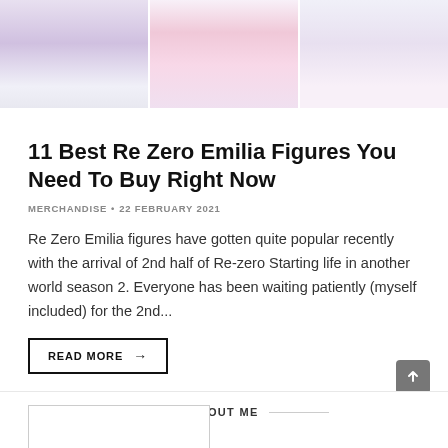[Figure (illustration): Three panel anime illustration showing Re Zero Emilia figures in white and purple outfits]
11 Best Re Zero Emilia Figures You Need To Buy Right Now
MERCHANDISE • 22 FEBRUARY 2021
Re Zero Emilia figures have gotten quite popular recently with the arrival of 2nd half of Re-zero Starting life in another world season 2. Everyone has been waiting patiently (myself included) for the 2nd...
READ MORE →
1 COMMENT / 18
ABOUT ME